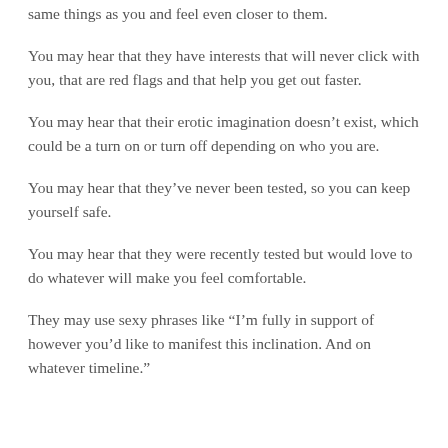same things as you and feel even closer to them.
You may hear that they have interests that will never click with you, that are red flags and that help you get out faster.
You may hear that their erotic imagination doesn’t exist, which could be a turn on or turn off depending on who you are.
You may hear that they’ve never been tested, so you can keep yourself safe.
You may hear that they were recently tested but would love to do whatever will make you feel comfortable.
They may use sexy phrases like “I’m fully in support of however you’d like to manifest this inclination. And on whatever timeline.”